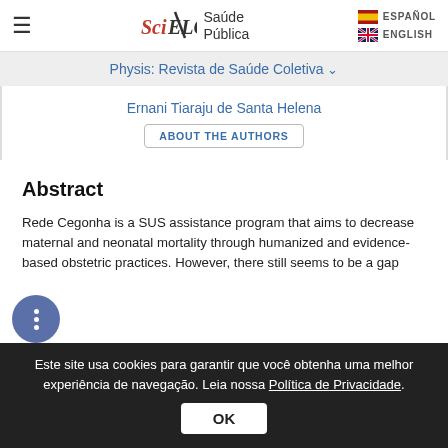SciELO Saúde Pública | ESPAÑOL | ENGLISH
Physis: Revista de Saúde Coletiva
Ernani Tiaraju de Santa Helena
ABOUT THE AUTHORS
Abstract
Rede Cegonha is a SUS assistance program that aims to decrease maternal and neonatal mortality through humanized and evidence-based obstetric practices. However, there still seems to be a gap
Este site usa cookies para garantir que você obtenha uma melhor experiência de navegação. Leia nossa Política de Privacidade.
OK